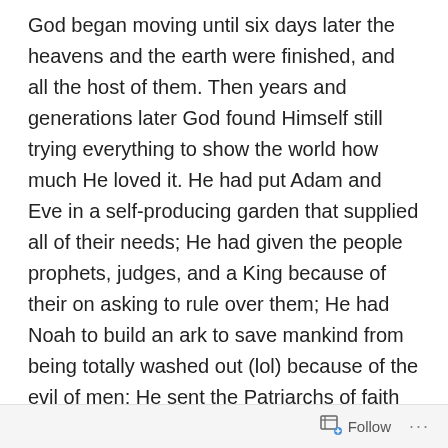God began moving until six days later the heavens and the earth were finished, and all the host of them. Then years and generations later God found Himself still trying everything to show the world how much He loved it. He had put Adam and Eve in a self-producing garden that supplied all of their needs; He had given the people prophets, judges, and a King because of their on asking to rule over them; He had Noah to build an ark to save mankind from being totally washed out (lol) because of the evil of men; He sent the Patriarchs of faith including Jacob with his seed bearing descendants; He sent Moses to deliver those from over 400 years of captivity; and He gave them the law that allowed them to offer up sacrifices for their sins. Theses ae only a few of the major things that God did to show His love, and the list can go on and on.
Follow ···